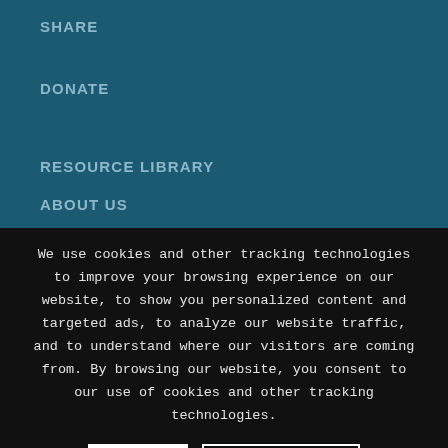SHARE
DONATE
RESOURCE LIBRARY
ABOUT US
We use cookies and other tracking technologies to improve your browsing experience on our website, to show you personalized content and targeted ads, to analyze our website traffic, and to understand where our visitors are coming from. By browsing our website, you consent to our use of cookies and other tracking technologies.